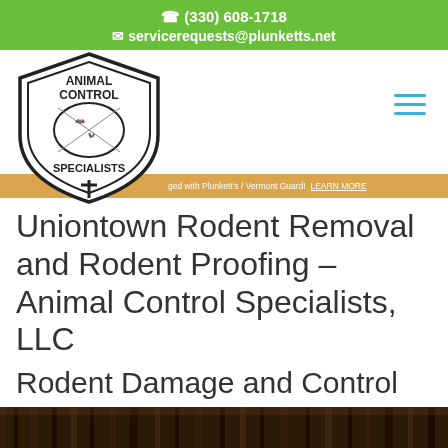(330) 608-1718
servicerequests@plunketts.net
[Figure (logo): Animal Control Specialists LLC badge/shield logo with cross symbol]
ged with Plunkett's / Vermont Guard!  LEARN MORE
Uniontown Rodent Removal and Rodent Proofing – Animal Control Specialists, LLC
Rodent Damage and Control
[Figure (photo): Dark background photo, appears to be a dimly lit environment with vertical structures]